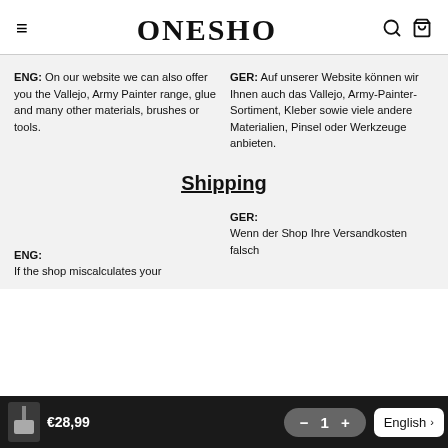BONESHOP
ENG: On our website we can also offer you the Vallejo, Army Painter range, glue and many other materials, brushes or tools.
GER: Auf unserer Website können wir Ihnen auch das Vallejo, Army-Painter-Sortiment, Kleber sowie viele andere Materialien, Pinsel oder Werkzeuge anbieten.
Shipping
ENG: If the shop miscalculates your
GER: Wenn der Shop Ihre Versandkosten falsch
€28,99  −  1  +  English >